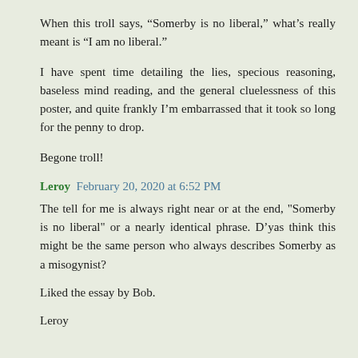When this troll says, “Somerby is no liberal,” what’s really meant is “I am no liberal.”
I have spent time detailing the lies, specious reasoning, baseless mind reading, and the general cluelessness of this poster, and quite frankly I’m embarrassed that it took so long for the penny to drop.
Begone troll!
Leroy  February 20, 2020 at 6:52 PM
The tell for me is always right near or at the end, "Somerby is no liberal" or a nearly identical phrase. D'yas think this might be the same person who always describes Somerby as a misogynist?
Liked the essay by Bob.
Leroy